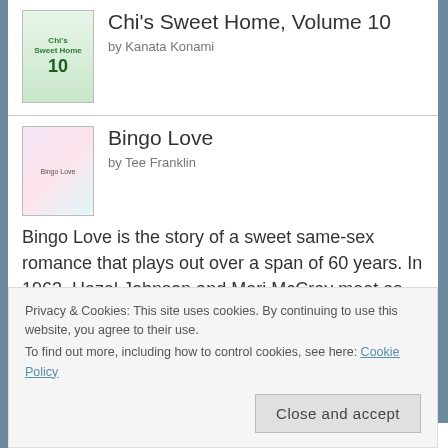[Figure (illustration): Book cover for Chi's Sweet Home, Volume 10]
Chi's Sweet Home, Volume 10
by Kanata Konami
[Figure (illustration): Book cover for Bingo Love]
Bingo Love
by Tee Franklin
Bingo Love is the story of a sweet same-sex romance that plays out over a span of 60 years. In 1963, Hazel Johnson and Mari McCray meet as teenagers at church bingo, and it's this meeting that eventually brings them together as lovers. H...
[Figure (illustration): Book cover for Bungo Stray Dogs, Vol. 15]
Bungo Stray Dogs, Vol. 15
by Gou Tanabe
Privacy & Cookies: This site uses cookies. By continuing to use this website, you agree to their use.
To find out more, including how to control cookies, see here: Cookie Policy
Close and accept